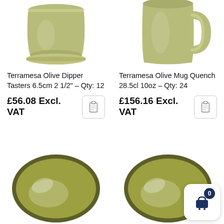[Figure (photo): Top portion of an olive/sage green ceramic dipper taster cup on white background]
[Figure (photo): Top portion of an olive/sage green ceramic mug with handle on white background]
Terramesa Olive Dipper Tasters 6.5cm 2 1/2" – Qty: 12
£56.08 Excl. VAT
Terramesa Olive Mug Quench 28.5cl 10oz – Qty: 24
£156.16 Excl. VAT
[Figure (photo): Olive green ceramic shallow plate/bowl viewed from above, with dark rim, on white background]
[Figure (photo): Olive green ceramic shallow plate viewed from above, with dark rim, on white background, with shopping cart overlay badge showing 0]